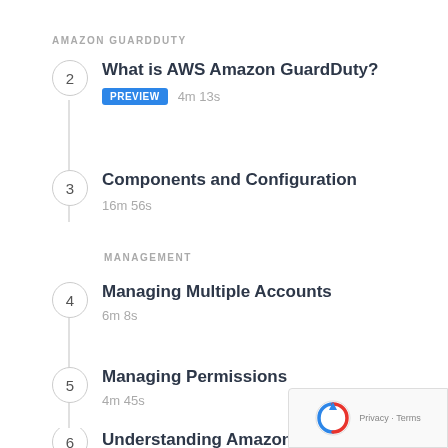AMAZON GUARDDUTY
2  What is AWS Amazon GuardDuty?
PREVIEW  4m 13s
3  Components and Configuration
16m 56s
MANAGEMENT
4  Managing Multiple Accounts
6m 8s
5  Managing Permissions
4m 45s
6  Understanding Amazon GuardDuty Findings
10m 31s